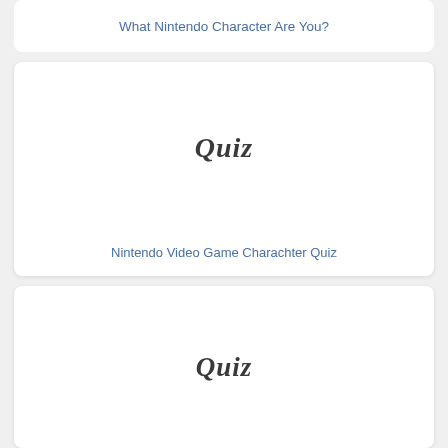What Nintendo Character Are You?
[Figure (illustration): Card with Quiz handwritten-style text and link: Nintendo Video Game Charachter Quiz]
Nintendo Video Game Charachter Quiz
[Figure (illustration): Card with Quiz handwritten-style text, bottom card, partially visible]